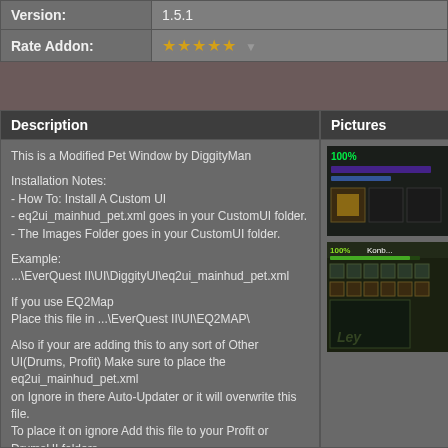| Field | Value |
| --- | --- |
| Version: | 1.5.1 |
| Rate Addon: | ★★★★★ ▼ |
Description
This is a Modified Pet Window by DiggityMan

Installation Notes:
- How To: Install A Custom UI
- eq2ui_mainhud_pet.xml goes in your CustomUI folder.
- The Images Folder goes in your CustomUI folder.

Example:
...\EverQuest II\UI\DiggityUI\eq2ui_mainhud_pet.xml

If you use EQ2Map
Place this file in ...\EverQuest II\UI\EQ2MAP\

Also if your are adding this to any sort of Other UI(Drums, Profit) Make sure to place the eq2ui_mainhud_pet.xml
on Ignore in there Auto-Updater or it will overwrite this file.
To place it on ignore Add this file to your Profit or DrumsUI folders
Start there Auto-updater When you see eq2ui_mainhud_pet.xml pop up as to be updated.
Pictures
[Figure (screenshot): Screenshot of the Modified Pet Window UI showing health bars and pet icons]
[Figure (screenshot): Screenshot of the Modified Pet Window UI showing expanded view with icon grid and pet window]